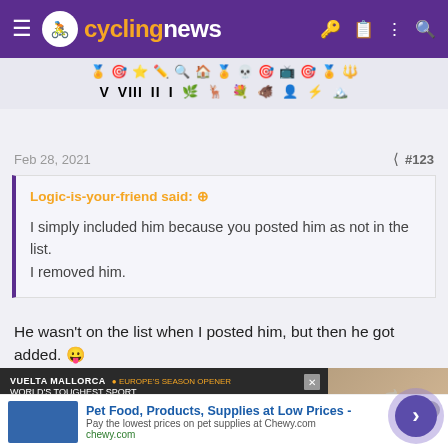cyclingnews
[Figure (illustration): Row of cycling achievement icons and roman numerals V VIII II I with various small sport/nature icons]
Feb 28, 2021  #123
Logic-is-your-friend said: ⊕

I simply included him because you posted him as not in the list. I removed him.
He wasn't on the list when I posted him, but then he got added. 😋
[Figure (screenshot): Advertisement banner for Vuelta Mallorca cycling magazine with coffee cup image]
[Figure (screenshot): Bottom ad banner: Pet Food, Products, Supplies at Low Prices - chewy.com]